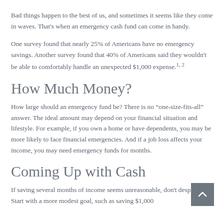Bad things happen to the best of us, and sometimes it seems like they come in waves. That's when an emergency cash fund can come in handy.
One survey found that nearly 25% of Americans have no emergency savings. Another survey found that 40% of Americans said they wouldn't be able to comfortably handle an unexpected $1,000 expense.1,2
How Much Money?
How large should an emergency fund be? There is no “one-size-fits-all” answer. The ideal amount may depend on your financial situation and lifestyle. For example, if you own a home or have dependents, you may be more likely to face financial emergencies. And if a job loss affects your income, you may need emergency funds for months.
Coming Up with Cash
If saving several months of income seems unreasonable, don't despair. Start with a more modest goal, such as saving $1,000...